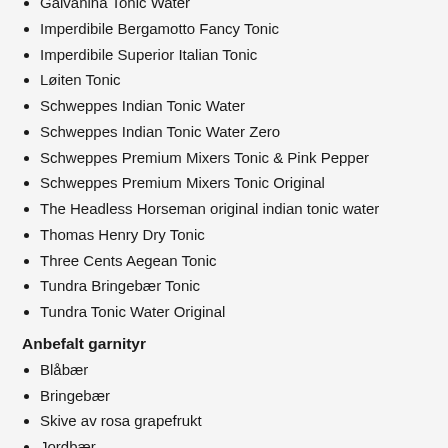Galvanina Tonic Water
Imperdibile Bergamotto Fancy Tonic
Imperdibile Superior Italian Tonic
Løiten Tonic
Schweppes Indian Tonic Water
Schweppes Indian Tonic Water Zero
Schweppes Premium Mixers Tonic & Pink Pepper
Schweppes Premium Mixers Tonic Original
The Headless Horseman original indian tonic water
Thomas Henry Dry Tonic
Three Cents Aegean Tonic
Tundra Bringebær Tonic
Tundra Tonic Water Original
Anbefalt garnityr
Blåbær
Bringebær
Skive av rosa grapefrukt
Jordbær
Limeskall
Sitronskall